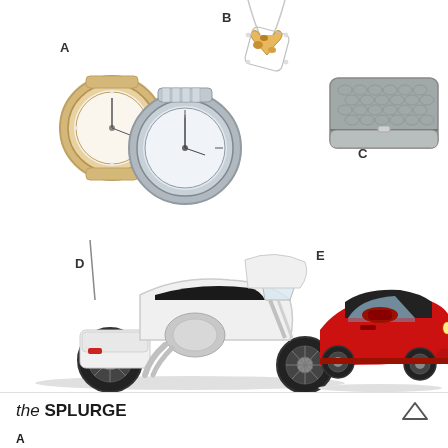[Figure (photo): Three labeled luxury items on white background: A - two wristwatches (one gold-tone with diamonds, one silver), B - diamond and gemstone heart pendant necklace, C - silver snakeskin-textured clutch wallet/purse]
[Figure (photo): Two labeled luxury vehicles on white background: D - white and black Harley-Davidson touring motorcycle, E - red Chevrolet Corvette Stingray sports car]
the SPLURGE
A